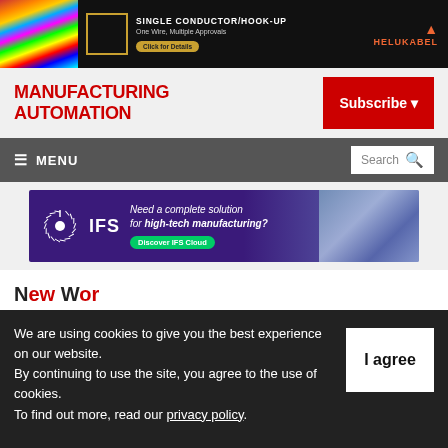[Figure (photo): HELUKABEL advertisement banner: colorful wires on left, orange bordered box, text 'SINGLE CONDUCTOR/HOOK-UP One Wire, Multiple Approvals', 'Click for Details' button, HELUKABEL logo in red on black background]
MANUFACTURING AUTOMATION
[Figure (screenshot): Red Subscribe button with dropdown caret on right side of header]
[Figure (screenshot): Dark gray navigation bar with hamburger menu 'MENU' on left and Search box on right]
[Figure (photo): IFS advertisement: 'Need a complete solution for high-tech manufacturing? Discover IFS Cloud' with IFS logo and circuit board image on purple background]
We are using cookies to give you the best experience on our website.
By continuing to use the site, you agree to the use of cookies.
To find out more, read our privacy policy.
[Figure (screenshot): White 'I agree' button on dark cookie consent banner]